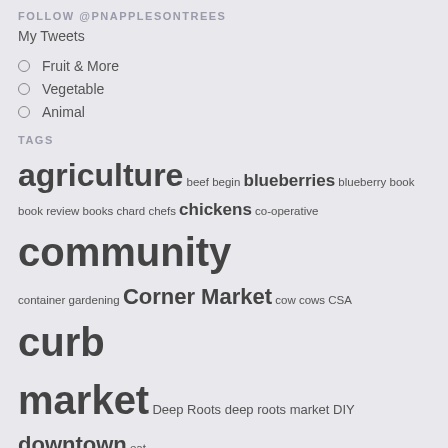FOLLOW @PNAPPLESONTREES
My Tweets
Fruit & More
Vegetable
Animal
TAGS
agriculture beef begin blueberries blueberry book book review books chard chefs chickens co-operative community container gardening Corner Market cow cows CSA curb market Deep Roots deep roots market DIY downtown eat edible edible schoolyard events farm farmers farmers market farming farms farm tour flowers food fruit gala garden Goat Lady Dairy Greensboro Greensboro Beautiful Greensboro Farmers Curb Market